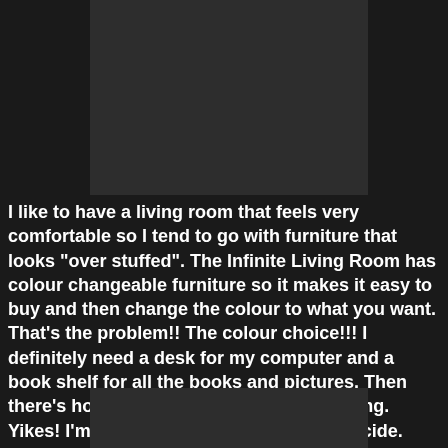[Figure (photo): Dark grey/black image panel at top center of page]
I like to have a living room that feels very comfortable so I tend to go with furniture that looks "over stuffed". The Infinite Living Room has colour changeable furniture so it makes it easy to buy and then change the colour to what you want.  That's the problem!!  The colour choice!!!  I definitely need a desk for my computer and a book shelf for all the books and pictures.  Then there's house plants to fit in with everything.  Yikes!  I'm getting a headache trying to decide.
[Figure (photo): Dark grey/black image panel at bottom center of page]